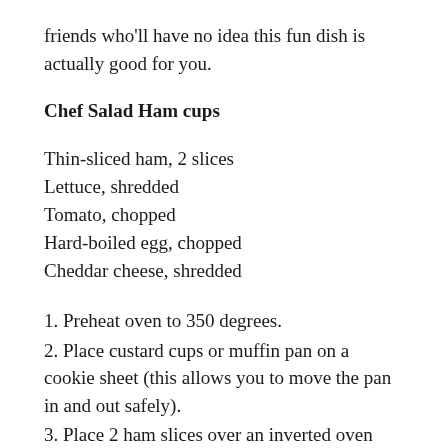friends who'll have no idea this fun dish is actually good for you.
Chef Salad Ham cups
Thin-sliced ham, 2 slices
Lettuce, shredded
Tomato, chopped
Hard-boiled egg, chopped
Cheddar cheese, shredded
1. Preheat oven to 350 degrees.
2. Place custard cups or muffin pan on a cookie sheet (this allows you to move the pan in and out safely).
3. Place 2 ham slices over an inverted oven